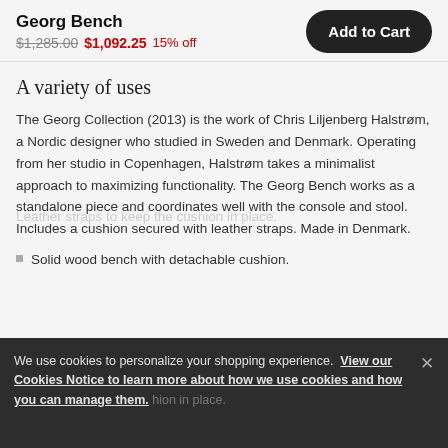Georg Bench
$1,285.00  $1,092.25  15% off
A variety of uses
The Georg Collection (2013) is the work of Chris Liljenberg Halstrøm, a Nordic designer who studied in Sweden and Denmark. Operating from her studio in Copenhagen, Halstrøm takes a minimalist approach to maximizing functionality. The Georg Bench works as a standalone piece and coordinates well with the console and stool. Includes a cushion secured with leather straps. Made in Denmark.
Solid wood bench with detachable cushion.
We use cookies to personalize your shopping experience. View our Cookies Notice to learn more about how we use cookies and how you can manage them.